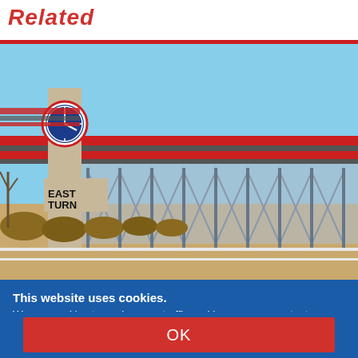Related
[Figure (photo): Exterior photo of a horse racing track stadium showing the East Turn grandstand structure with steel truss seating, a clock tower with a circular clock, red and white striped roof trim, clear blue sky, and dirt track visible in the foreground.]
This website uses cookies. We use cookies to analyze our traffic and improve our content.
OK